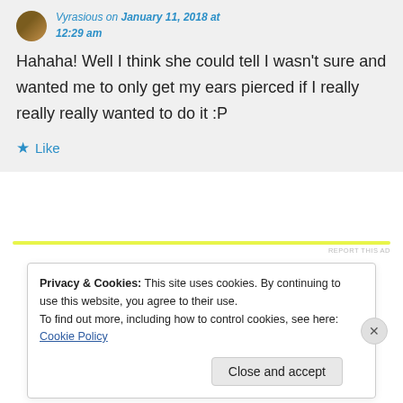Vyrasious on January 11, 2018 at 12:29 am
Hahaha! Well I think she could tell I wasn't sure and wanted me to only get my ears pierced if I really really really wanted to do it :P
Like
REPORT THIS AD
Privacy & Cookies: This site uses cookies. By continuing to use this website, you agree to their use.
To find out more, including how to control cookies, see here: Cookie Policy
Close and accept